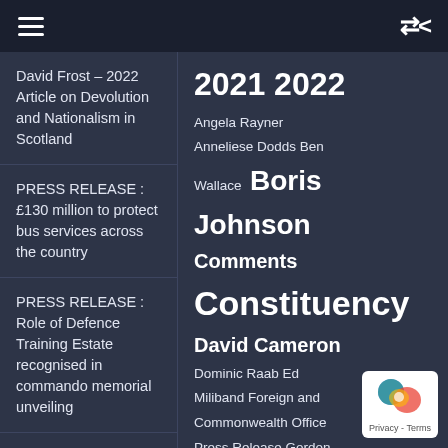hamburger menu | shuffle icon
David Frost – 2022 Article on Devolution and Nationalism in Scotland
PRESS RELEASE : £130 million to protect bus services across the country
PRESS RELEASE : Role of Defence Training Estate recognised in commando memorial unveiling
2021 2022 Angela Rayner Anneliese Dodds Ben Wallace Boris Johnson Comments Constituency David Cameron Dominic Raab Ed Miliband Foreign and Commonwealth Office Press Release Gordon Brown Grant Shapps Jeremy Corbyn Jonathan Ashworth Keir Starmer Liz Truss Maiden Speech Matt Hancock Michael Gove Nick
[Figure (logo): Google reCAPTCHA Privacy - Terms badge]